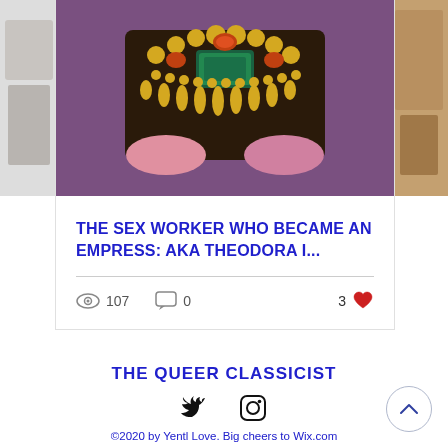[Figure (photo): Top portion of a blog post card showing a decorative mosaic/beaded crown or collar artifact with gold and jeweled elements on a purple background, partially cropped images on left and right sides]
THE SEX WORKER WHO BECAME AN EMPRESS: AKA THEODORA I...
107 views · 0 comments · 3 likes
[Figure (other): Carousel pagination dots — one filled blue dot and two grey dots]
THE QUEER CLASSICIST
[Figure (other): Twitter and Instagram social media icons]
©2020 by Yentl Love. Big cheers to Wix.com